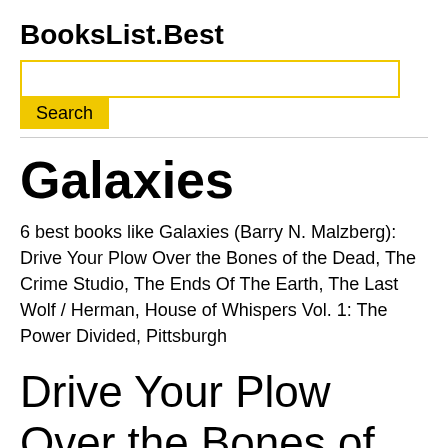BooksList.Best
[Figure (screenshot): Search input box with yellow border and yellow Search button]
Galaxies
6 best books like Galaxies (Barry N. Malzberg): Drive Your Plow Over the Bones of the Dead, The Crime Studio, The Ends Of The Earth, The Last Wolf / Herman, House of Whispers Vol. 1: The Power Divided, Pittsburgh
Drive Your Plow Over the Bones of the Dead